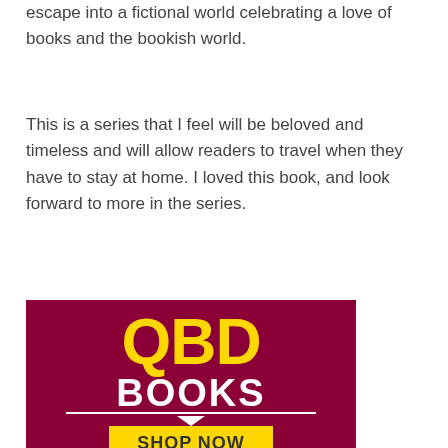escape into a fictional world celebrating a love of books and the bookish world.
This is a series that I feel will be beloved and timeless and will allow readers to travel when they have to stay at home. I loved this book, and look forward to more in the series.
[Figure (logo): QBD Books advertisement banner with dark red/maroon background. Yellow bold text 'QBD' at top, white bold text 'BOOKS' below, a white decorative line with V-shape, and a yellow 'SHOP NOW' button at the bottom.]